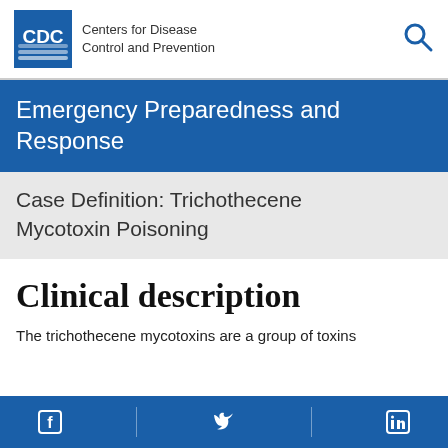Centers for Disease Control and Prevention
Emergency Preparedness and Response
Case Definition: Trichothecene Mycotoxin Poisoning
Clinical description
The trichothecene mycotoxins are a group of toxins
Facebook | Twitter | LinkedIn